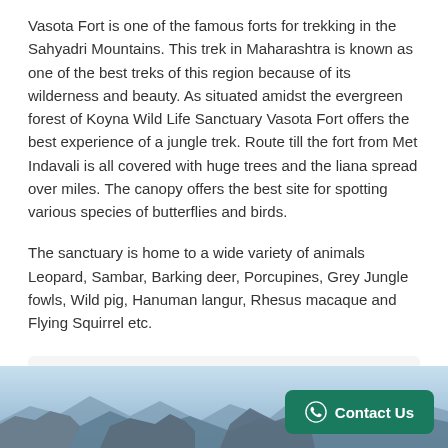Vasota Fort is one of the famous forts for trekking in the Sahyadri Mountains. This trek in Maharashtra is known as one of the best treks of this region because of its wilderness and beauty. As situated amidst the evergreen forest of Koyna Wild Life Sanctuary Vasota Fort offers the best experience of a jungle trek. Route till the fort from Met Indavali is all covered with huge trees and the liana spread over miles. The canopy offers the best site for spotting various species of butterflies and birds.
The sanctuary is home to a wide variety of animals Leopard, Sambar, Barking deer, Porcupines, Grey Jungle fowls, Wild pig, Hanuman langur, Rhesus macaque and Flying Squirrel etc.
#1   Vasota Fort aka Vyaghragad
#2   History
[Figure (photo): Mountain landscape with rocky cliffs and light blue sky at the bottom of the page]